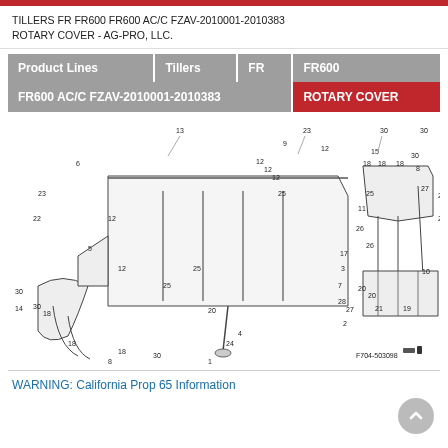TILLERS FR FR600 FR600 AC/C FZAV-2010001-2010383 ROTARY COVER - AG-PRO, LLC.
| Product Lines | Tillers | FR | FR600 |
| --- | --- | --- | --- |
| FR600 AC/C FZAV-2010001-2010383 |  |  | ROTARY COVER |
[Figure (engineering-diagram): Exploded parts diagram of Honda FR600 rotary cover assembly showing numbered components including cover panel, mounting brackets, bolts, screws, and frame components. Part numbers referenced as callouts with leader lines. Figure reference: F704-503098.]
WARNING: California Prop 65 Information